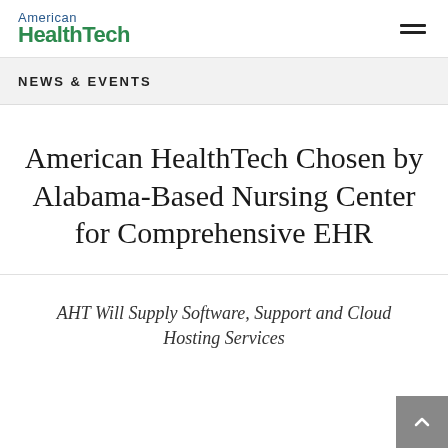American HealthTech
NEWS & EVENTS
American HealthTech Chosen by Alabama-Based Nursing Center for Comprehensive EHR
AHT Will Supply Software, Support and Cloud Hosting Services